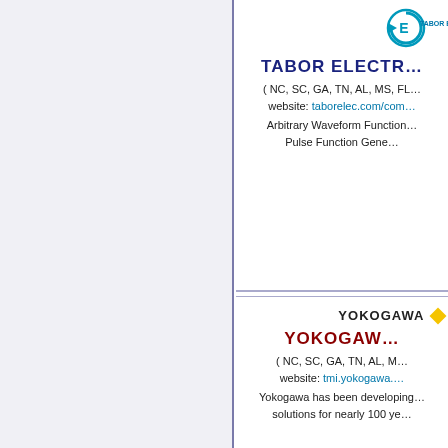[Figure (logo): Tabor Electronics logo with circular arrow icon and company name]
TABOR ELECTRONICS
( NC, SC, GA, TN, AL, MS, FL…
website: taborelec.com/com…
Arbitrary Waveform Function…
Pulse Function Gene…
[Figure (logo): YOKOGAWA logo with yellow diamond]
YOKOGAWA
( NC, SC, GA, TN, AL, M…
website: tmi.yokogawa.…
Yokogawa has been developing…
solutions for nearly 100 ye…